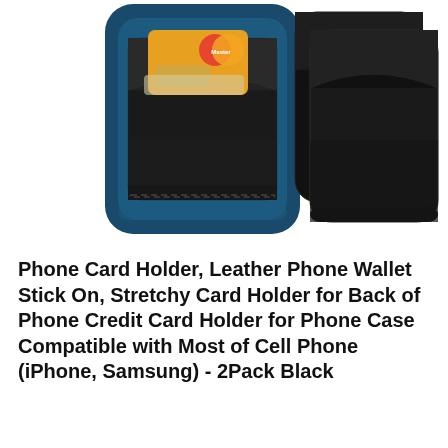[Figure (photo): Product photo showing two phone card holders. On the left, a dark blue phone case with a black leather card holder attached to the back, holding a credit card (Mastercard visible). On the right, two standalone black leather card holders shown side by side.]
Phone Card Holder, Leather Phone Wallet Stick On, Stretchy Card Holder for Back of Phone Credit Card Holder for Phone Case Compatible with Most of Cell Phone (iPhone, Samsung) - 2Pack Black